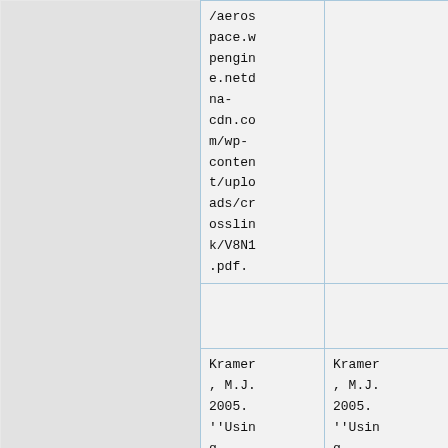|  | URL | Reference |
| --- | --- | --- |
|  | /aerospace.wpengi ne.netdna-cdn.co m/wp-content/uplo ads/cr osslin k/V8N1 .pdf. |  |
|  |  |  |
|  | Kramer , M.J. 2005. ''Usin g Concep t Maps | Kramer , M.J. 2005. ''Usin g Concep t Maps |